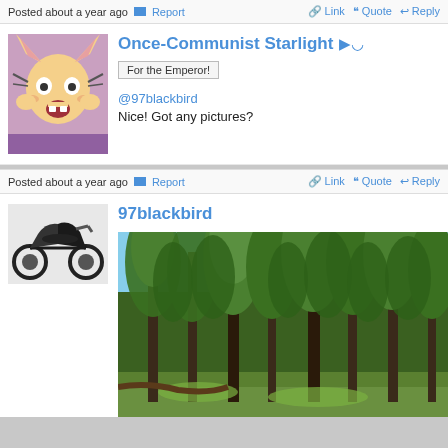Posted about a year ago  Report  Link  Quote  Reply
Once-Communist Starlight
For the Emperor!
@97blackbird
Nice! Got any pictures?
Posted about a year ago  Report  Link  Quote  Reply
97blackbird
[Figure (photo): Forest of tall pine trees with green foliage and blue sky in background, grassy floor]